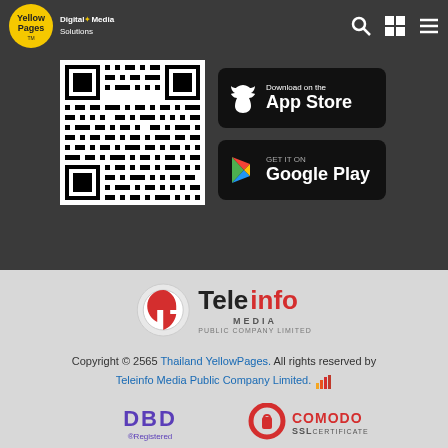[Figure (logo): Yellow Pages Thailand logo with yellow circle and Digital Media Solutions text]
[Figure (other): QR code for app download]
[Figure (other): Download on the App Store button]
[Figure (other): Get it on Google Play button]
[Figure (logo): Teleinfo Media Public Company Limited logo]
Copyright © 2565 Thailand YellowPages. All rights reserved by Teleinfo Media Public Company Limited.
[Figure (logo): DBD Registered badge]
[Figure (logo): Comodo SSL Certificate badge]